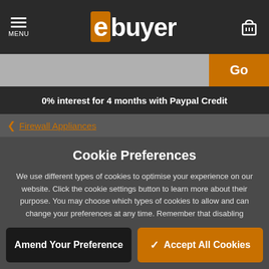MENU  ebuyer
Go
0% interest for 4 months with Paypal Credit
< Firewall Appliances
Cookie Preferences
We use different types of cookies to optimise your experience on our website. Click the cookie settings button to learn more about their purpose. You may choose which types of cookies to allow and can change your preferences at any time. Remember that disabling cookies may affect your experience on the website. You can learn about how we use cookies by viewing our Cookie Policy.
Amend Your Preference
✓ Accept All Cookies